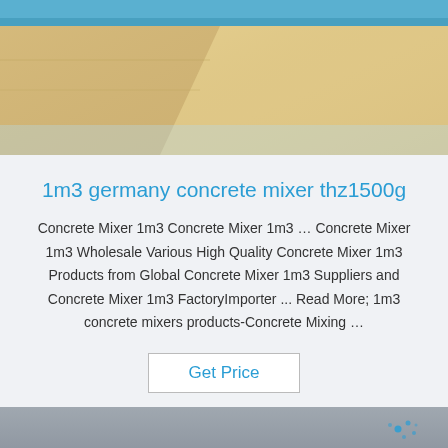[Figure (photo): Top product photo showing cardboard/foil packaging material with blue tape and plastic wrap]
1m3 germany concrete mixer thz1500g
Concrete Mixer 1m3 Concrete Mixer 1m3 … Concrete Mixer 1m3 Wholesale Various High Quality Concrete Mixer 1m3 Products from Global Concrete Mixer 1m3 Suppliers and Concrete Mixer 1m3 FactoryImporter ... Read More; 1m3 concrete mixers products-Concrete Mixing …
Get Price
[Figure (photo): Bottom product photo showing large metallic/aluminum rolls stacked in a warehouse with green straps and TOP logo watermark]